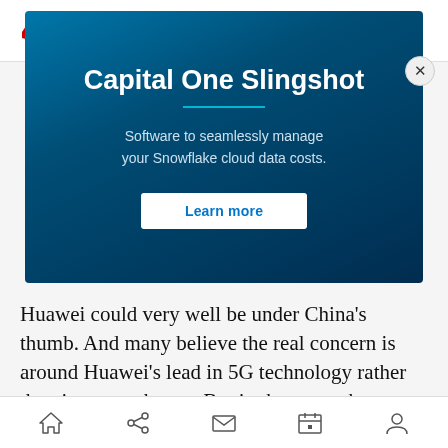[Figure (screenshot): Capital One Software ad banner strip at top showing logo, divider, and text 'Capital One Slingshot - Software to seamlessly manage your Snowflake cloud data costs.']
[Figure (screenshot): Capital One Slingshot advertisement on dark navy background with title 'Capital One Slingshot', subtitle 'Software to seamlessly manage your Snowflake cloud data costs.' and a 'Learn more' button. A close (X) button is visible in the upper right corner.]
Huawei could very well be under China's thumb. And many believe the real concern is around Huawei's lead in 5G technology rather than its smartphones. But in the smartphone market, all the U.S. has achieved is swapping one Chinese
[Figure (screenshot): Mobile bottom navigation bar with icons for home, share, mail, calendar, and user profile.]